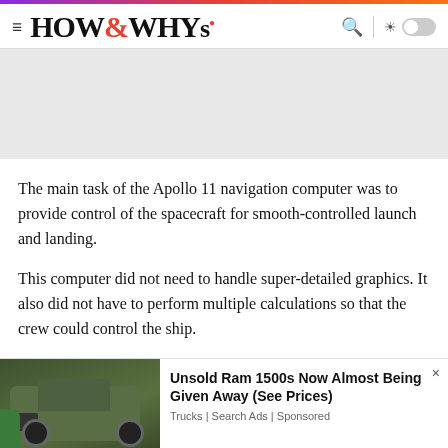HOW&WHYs
[Figure (other): Gray advertisement banner placeholder area]
The main task of the Apollo 11 navigation computer was to provide control of the spacecraft for smooth-controlled launch and landing.
This computer did not need to handle super-detailed graphics. It also did not have to perform multiple calculations so that the crew could control the ship.
[Figure (photo): Advertisement showing a green Ram 1500 truck parked in front of a building with text: Unsold Ram 1500s Now Almost Being Given Away (See Prices). Trucks | Search Ads | Sponsored]